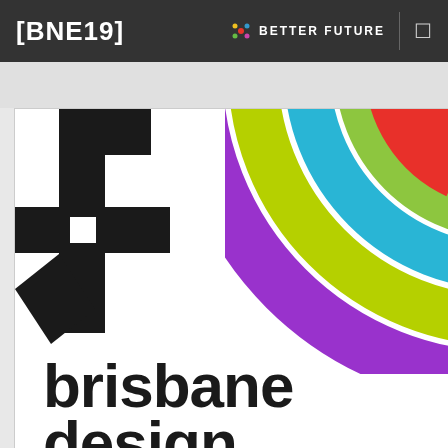[BNE19] BETTER FUTURE
[Figure (logo): Brisbane Design logo: black gear/asterisk symbol on left, multicolor concentric arc wheel (purple, lime green, cyan, light green, red) on right, with text 'brisbane design' in heavy black type at bottom]